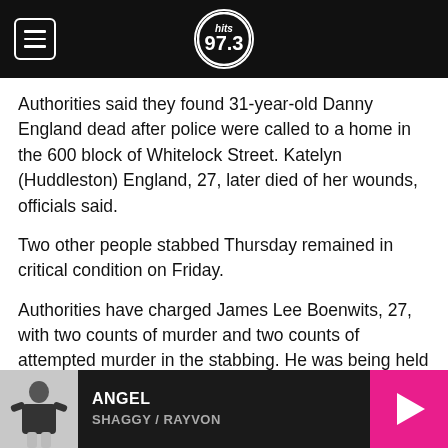HITS 97.3
Authorities said they found 31-year-old Danny England dead after police were called to a home in the 600 block of Whitelock Street. Katelyn (Huddleston) England, 27, later died of her wounds, officials said.
Two other people stabbed Thursday remained in critical condition on Friday.
Authorities have charged James Lee Boenwits, 27, with two counts of murder and two counts of attempted murder in the stabbing. He was being held without bond Friday at the Huntington County Jail.
[Figure (other): Music player bar showing album art thumbnail of a person in black and white, song title ANGEL by SHAGGY / RAYVON, with a pink play button on the right]